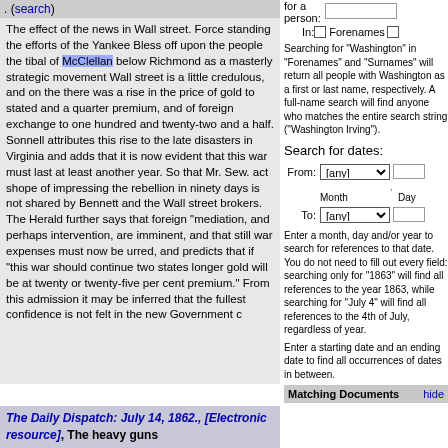. (search)
The effect of the news in Wall street. Force standing the efforts of the Yankee Bless off upon the people the tibal of McClellan below Richmond as a masterly strategic movement Wall street is a little credulous, and on the there was a rise in the price of gold to stated and a quarter premium, and of foreign exchange to one hundred and twenty-two and a half. Sonnell attributes this rise to the late disasters in Virginia and adds that it is now evident that this war must last at least another year. So that Mr. Sew. act shope of impressing the rebellion in ninety days is not shared by Bennett and the Wall street brokers. The Herald further says that foreign "mediation, and perhaps intervention, are imminent, and that still war expenses must now be urred, and predicts that if "this war should continue two states longer gold will be at twenty or twenty-five per cent premium." From this admission it may be inferred that the fullest confidence is not felt in the new Government c
The Daily Dispatch: July 14, 1862., [Electronic resource], The heavy guns
for a person:
In: Forenames
Searching for "Washington" in "Forenames" and "Surnames" will return all people with Washington as a first or last name, respectively. A full-name search will find anyone who matches the entire search string ("Washington Irving").
Search for dates:
From: [any]
Month  Day
To: [any]
Enter a month, day and/or year to search for references to that date. You do not need to fill out every field: searching only for "1863" will find all references to the year 1863, while searching for "July 4" will find all references to the 4th of July, regardless of year.
Enter a starting date and an ending date to find all occurrences of dates in between.
Matching Documents  hide